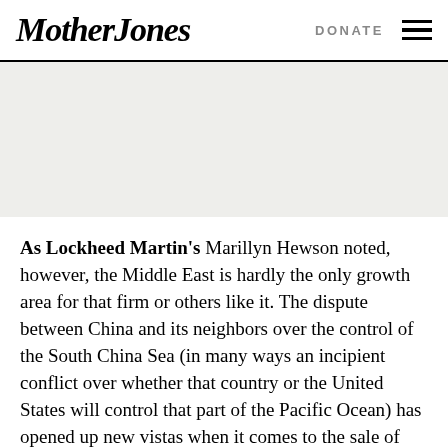Mother Jones | DONATE
[Figure (other): Gray banner/advertisement area below the navigation header]
As Lockheed Martin's Marillyn Hewson noted, however, the Middle East is hardly the only growth area for that firm or others like it. The dispute between China and its neighbors over the control of the South China Sea (in many ways an incipient conflict over whether that country or the United States will control that part of the Pacific Ocean) has opened up new vistas when it comes to the sale of American warships and other military equipment